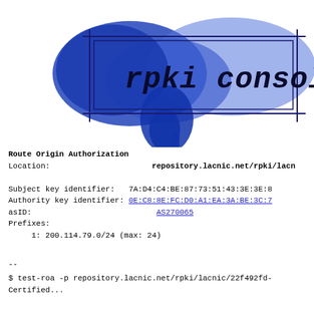[Figure (logo): rpki console logo with blue watercolor/ink splash background and hand-drawn text reading 'rpki console' with a double-line rectangle border]
Route Origin Authorization
Location:                     repository.lacnic.net/rpki/lacn

Subject key identifier:   7A:D4:C4:BE:87:73:51:43:3E:3E:8
Authority key identifier: 0E:C8:8E:FC:D0:A1:EA:3A:BE:3C:7
asID:                         AS270065
Prefixes:
     1: 200.114.79.0/24 (max: 24)

--
$ test-roa -p repository.lacnic.net/rpki/lacnic/22f492fd-
Certified...